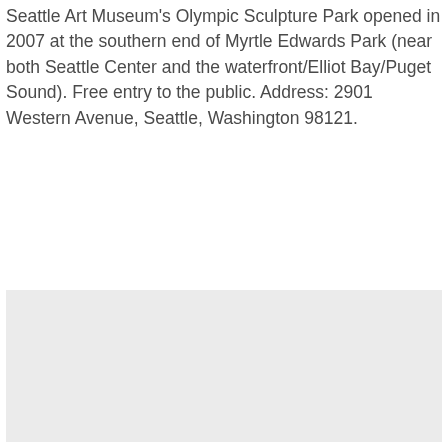Seattle Art Museum's Olympic Sculpture Park opened in 2007 at the southern end of Myrtle Edwards Park (near both Seattle Center and the waterfront/Elliot Bay/Puget Sound). Free entry to the public. Address: 2901 Western Avenue, Seattle, Washington 98121.
[Figure (photo): A large light gray rectangular placeholder image occupying the lower portion of the page.]